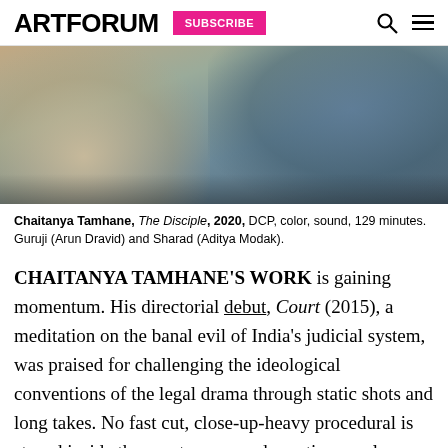ARTFORUM SUBSCRIBE
[Figure (photo): Film still showing two figures: on the left, a person in light/cream colored clothing with an outstretched hand, and on the right, a person in a blue long-sleeved shirt.]
Chaitanya Tamhane, The Disciple, 2020, DCP, color, sound, 129 minutes. Guruji (Arun Dravid) and Sharad (Aditya Modak).
CHAITANYA TAMHANE'S WORK is gaining momentum. His directorial debut, Court (2015), a meditation on the banal evil of India's judicial system, was praised for challenging the ideological conventions of the legal drama through static shots and long takes. No fast cut, close-up-heavy procedural is staged inside the courtroom; no dramatic monologues are delivered; justice is not